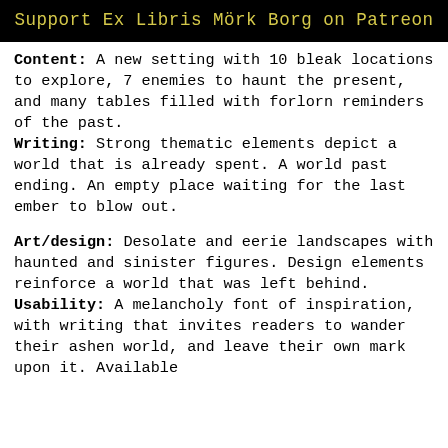Support Ex Libris Mörk Borg on Patreon
Content: A new setting with 10 bleak locations to explore, 7 enemies to haunt the present, and many tables filled with forlorn reminders of the past.
Writing: Strong thematic elements depict a world that is already spent. A world past ending. An empty place waiting for the last ember to blow out.
Art/design: Desolate and eerie landscapes with haunted and sinister figures. Design elements reinforce a world that was left behind.
Usability: A melancholy font of inspiration, with writing that invites readers to wander their ashen world, and leave their own mark upon it. Available by...